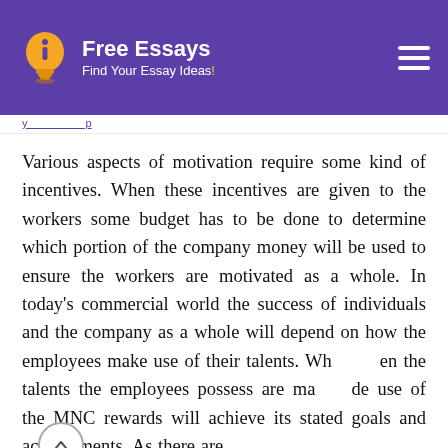Free Essays — Find Your Essay Ideas!
Various aspects of motivation require some kind of incentives. When these incentives are given to the workers some budget has to be done to determine which portion of the company money will be used to ensure the workers are motivated as a whole. In today's commercial world the success of individuals and the company as a whole will depend on how the employees make use of their talents. When the talents the employees possess are made use of the MNC rewards will achieve its stated goals and achievements. As there are